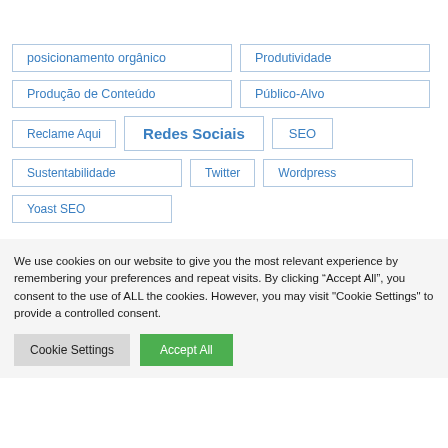posicionamento orgânico
Produtividade
Produção de Conteúdo
Público-Alvo
Reclame Aqui
Redes Sociais
SEO
Sustentabilidade
Twitter
Wordpress
Yoast SEO
We use cookies on our website to give you the most relevant experience by remembering your preferences and repeat visits. By clicking “Accept All”, you consent to the use of ALL the cookies. However, you may visit "Cookie Settings" to provide a controlled consent.
Cookie Settings | Accept All